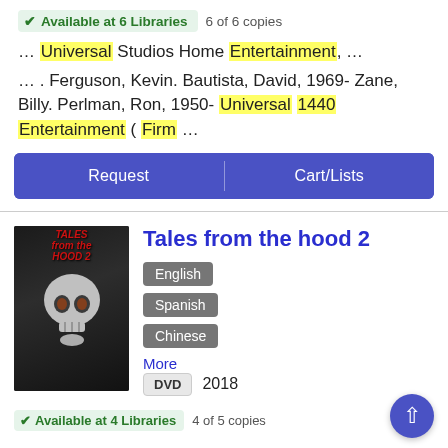✔ Available at 6 Libraries  6 of 6 copies
… Universal Studios Home Entertainment, …
… . Ferguson, Kevin. Bautista, David, 1969- Zane, Billy. Perlman, Ron, 1950- Universal 1440 Entertainment ( Firm …
Request | Cart/Lists
[Figure (illustration): DVD cover of Tales from the Hood 2 showing a sinister figure in a suit holding metallic skulls against a dark background]
Tales from the hood 2
English
Spanish
Chinese
More
DVD  2018
✔ Available at 4 Libraries  4 of 5 copies